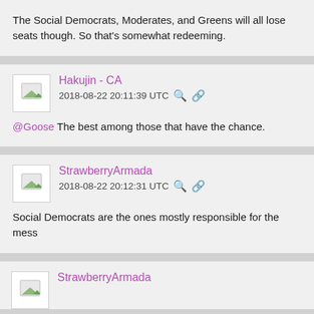The Social Democrats, Moderates, and Greens will all lose seats though. So that's somewhat redeeming.
Hakujin - CA
2018-08-22 20:11:39 UTC
@Goose The best among those that have the chance.
StrawberryArmada
2018-08-22 20:12:31 UTC
Social Democrats are the ones mostly responsible for the mess
StrawberryArmada